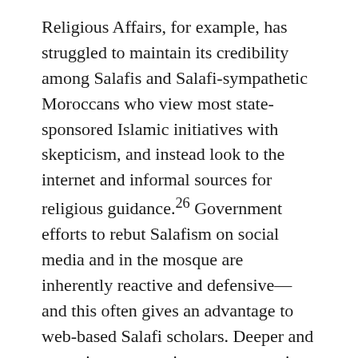Religious Affairs, for example, has struggled to maintain its credibility among Salafis and Salafi-sympathetic Moroccans who view most state-sponsored Islamic initiatives with skepticism, and instead look to the internet and informal sources for religious guidance.26 Government efforts to rebut Salafism on social media and in the mosque are inherently reactive and defensive—and this often gives an advantage to web-based Salafi scholars. Deeper and proactive community engagement is necessary to curtail religious-based antipathy toward the monarchy and to help integrate marginalized religious actors. The fact that the institute's outreach (along with other government programs) explicitly aims to help address the everyday economic and social problems affecting the Moroccan people suggest it could play a valuable role in helping the monarchy to establish